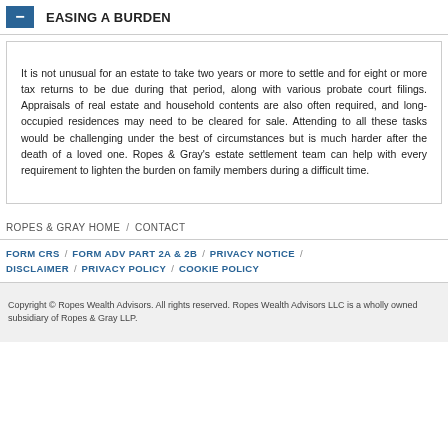EASING A BURDEN
It is not unusual for an estate to take two years or more to settle and for eight or more tax returns to be due during that period, along with various probate court filings. Appraisals of real estate and household contents are also often required, and long-occupied residences may need to be cleared for sale. Attending to all these tasks would be challenging under the best of circumstances but is much harder after the death of a loved one. Ropes & Gray's estate settlement team can help with every requirement to lighten the burden on family members during a difficult time.
ROPES & GRAY HOME   /   CONTACT
FORM CRS   /   FORM ADV PART 2A & 2B   /   PRIVACY NOTICE   /   DISCLAIMER   /   PRIVACY POLICY   /   COOKIE POLICY
Copyright © Ropes Wealth Advisors. All rights reserved. Ropes Wealth Advisors LLC is a wholly owned subsidiary of Ropes & Gray LLP.